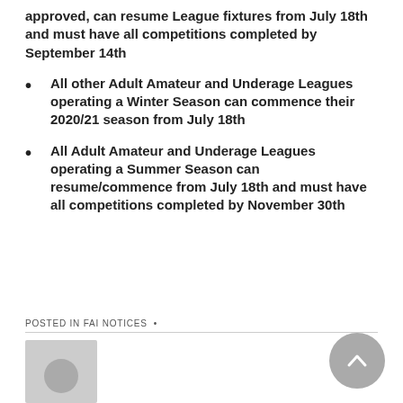approved, can resume League fixtures from July 18th and must have all competitions completed by September 14th
All other Adult Amateur and Underage Leagues operating a Winter Season can commence their 2020/21 season from July 18th
All Adult Amateur and Underage Leagues operating a Summer Season can resume/commence from July 18th and must have all competitions completed by November 30th
POSTED IN FAI NOTICES •